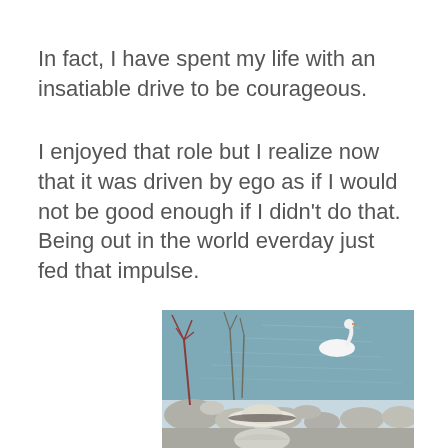In fact, I have spent my life with an insatiable drive to be courageous.
I enjoyed that role but I realize now that it was driven by ego as if I would not be good enough if I didn't do that. Being out in the world everday just fed that impulse.
[Figure (photo): A person wearing a white wide-brim hat sits by a rocky lakeshore, looking at a white swan swimming on calm water, with bare reddish shrubs in the background.]